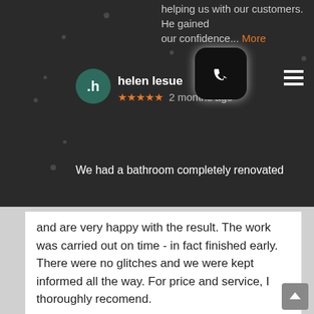helping us with our customers. He gained our confidence... More
helen lesue ★★★★★ 2 months ago
We had a bathroom completely renovated and are very happy with the result. The work was carried out on time - in fact finished early. There were no glitches and we were kept informed all the way. For price and service, I thoroughly recomend.
SHEREE SQUIRE ★★★★★ 2 months ago
We recently had a bathroom and toilet renovation performed by this very professional and capable team. I would recommend them to everyone interested in renovating their bathroom. We are very happy with our result.